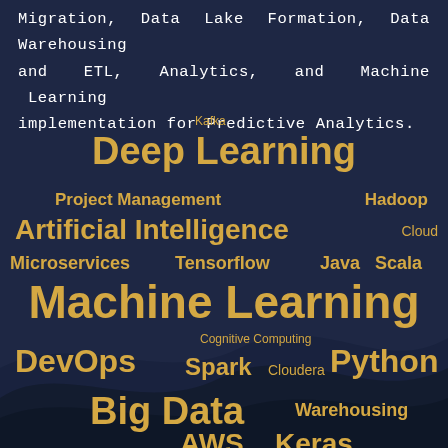Migration, Data Lake Formation, Data Warehousing and ETL, Analytics, and Machine Learning implementation for Predictive Analytics.
[Figure (infographic): Word cloud on dark navy background with golden/yellow text showing technology skills: Deep Learning (large), Machine Learning (largest), Artificial Intelligence (large), Big Data (large), Python (large), DevOps (medium), Spark (medium), AWS (medium), Keras (medium), Microservices (medium), Tensorflow (medium), Java (medium), Scala (medium), Project Management (medium), Hadoop (medium), Cognitive Computing (small), Cloudera (small), Cloud (small), Kafka (small), LoanIQ (small), Azure (small), IBM (small). Background has wave/curve design elements.]